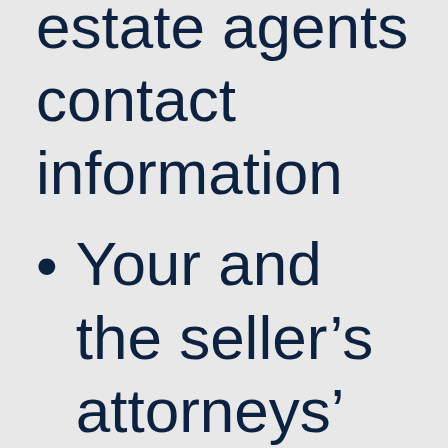estate agents contact information
Your and the seller's attorneys' contact information (if applicable)